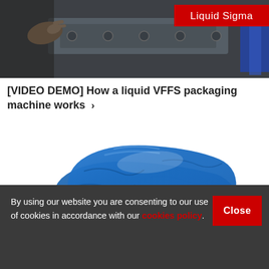[Figure (photo): Photo of a liquid VFFS packaging machine with 'Liquid Sigma' label in red on the top right]
[VIDEO DEMO] How a liquid VFFS packaging machine works ›
[Figure (photo): Photo of two shiny blue liquid-filled plastic pouches/bags stacked on a white background]
By using our website you are consenting to our use of cookies in accordance with our cookies policy.